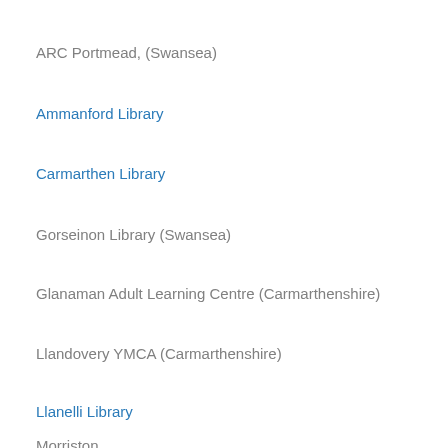ARC Portmead, (Swansea)
Ammanford Library
Carmarthen Library
Gorseinon Library (Swansea)
Glanaman Adult Learning Centre (Carmarthenshire)
Llandovery YMCA (Carmarthenshire)
Llanelli Library
Morriston... (Swansea)